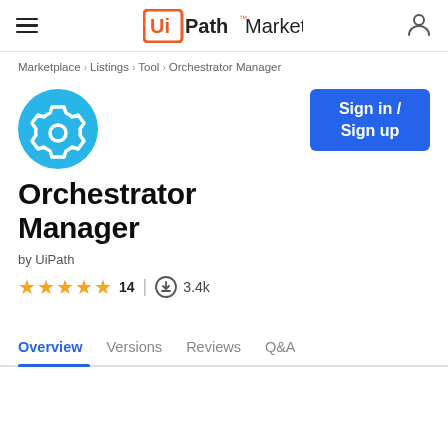UiPath Marketplace
Marketplace > Listings > Tool > Orchestrator Manager
[Figure (logo): UiPath Marketplace logo with orange bordered Ui and Path text]
[Figure (illustration): Cyan circle with white gear/settings icon]
Sign in / Sign up
Orchestrator Manager
by UiPath
★★★★★ 14 | 3.4k
Overview   Versions   Reviews   Q&A